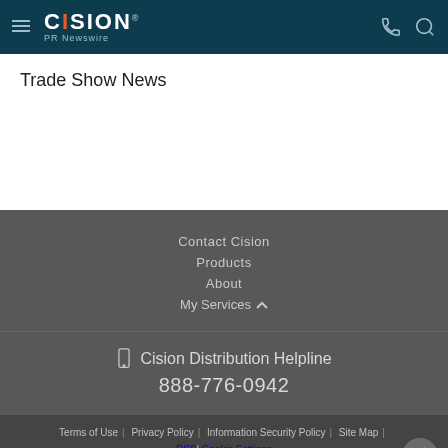CISION PR Newswire
Trade Show News
Contact Cision
Products
About
My Services
Cision Distribution Helpline 888-776-0942
Terms of Use | Privacy Policy | Information Security Policy | Site Map | RSS | Cookie Settings
Copyright © 2022 Cision US Inc.